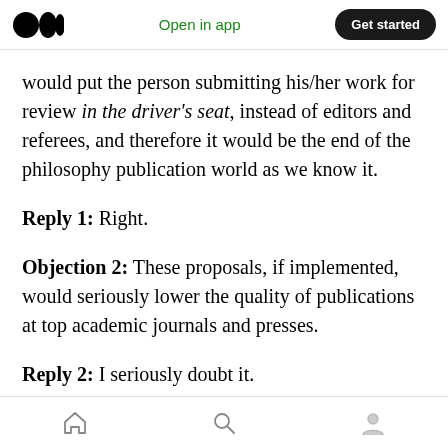Medium logo | Open in app | Get started
would put the person submitting his/her work for review in the driver's seat, instead of editors and referees, and therefore it would be the end of the philosophy publication world as we know it.
Reply 1: Right.
Objection 2: These proposals, if implemented, would seriously lower the quality of publications at top academic journals and presses.
Reply 2: I seriously doubt it.
Home | Search | Profile